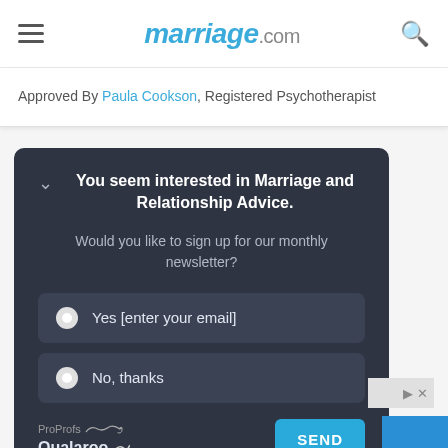marriage.com
Approved By Paula Cookson, Registered Psychotherapist
You seem interested in Marriage and Relationship Advice. Would you like to sign up for our monthly newsletter? Yes [enter your email] No, thanks
[Figure (screenshot): ProProfs Qualaroo survey widget with SEND button]